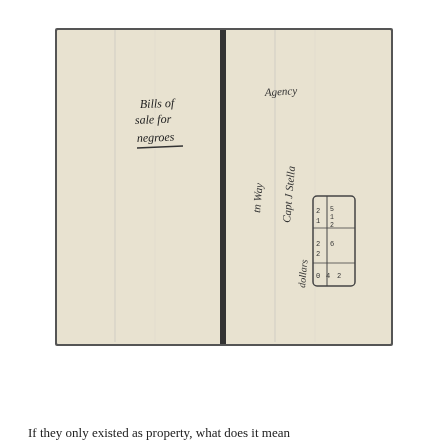[Figure (photo): Scanned image of a folded historical document (two pages visible side by side). Left page has cursive handwritten text reading 'Bills of sale for negroes' with an underline. Right page has cursive handwritten text reading 'Agency' at top, then rotated text reading 'tn Wm y Capt J Stella dollars' with a small hand-drawn table/box containing numbers.]
If they only existed as property, what does it mean